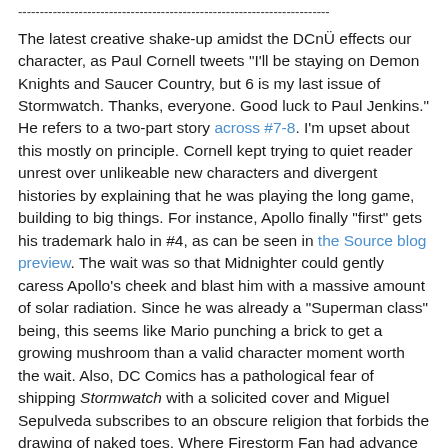------------------------------------------------------------------------
The latest creative shake-up amidst the DCnÜ effects our character, as Paul Cornell tweets "I'll be staying on Demon Knights and Saucer Country, but 6 is my last issue of Stormwatch. Thanks, everyone. Good luck to Paul Jenkins." He refers to a two-part story across #7-8. I'm upset about this mostly on principle. Cornell kept trying to quiet reader unrest over unlikeable new characters and divergent histories by explaining that he was playing the long game, building to big things. For instance, Apollo finally "first" gets his trademark halo in #4, as can be seen in the Source blog preview. The wait was so that Midnighter could gently caress Apollo's cheek and blast him with a massive amount of solar radiation. Since he was already a "Superman class" being, this seems like Mario punching a brick to get a growing mushroom than a valid character moment worth the wait. Also, DC Comics has a pathological fear of shipping Stormwatch with a solicited cover and Miguel Sepulveda subscribes to an obscure religion that forbids the drawing of naked toes. Where Firestorm Fan had advance warning that a co-writer and friend of the blog would be leaving, it can